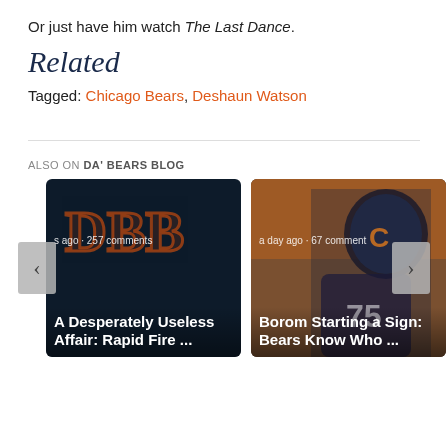Or just have him watch The Last Dance.
Related
Tagged: Chicago Bears, Deshaun Watson
ALSO ON DA' BEARS BLOG
[Figure (screenshot): Two blog post cards: left card shows DBB logo on dark background with text 'A Desperately Useless Affair: Rapid Fire ...' and 's ago · 257 comments'; right card shows a Bears football player with helmet with text 'Borom Starting a Sign: Bears Know Who ...' and 'a day ago · 67 comments'. Navigation arrows on left and right sides.]